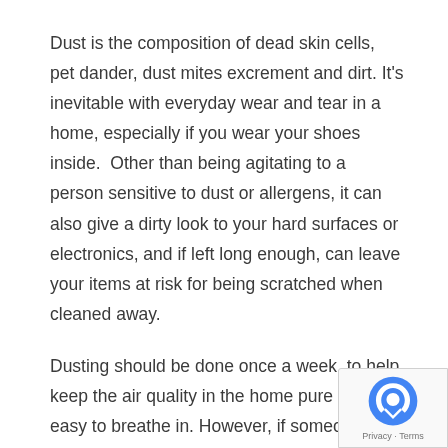Dust is the composition of dead skin cells, pet dander, dust mites excrement and dirt. It's inevitable with everyday wear and tear in a home, especially if you wear your shoes inside.  Other than being agitating to a person sensitive to dust or allergens, it can also give a dirty look to your hard surfaces or electronics, and if left long enough, can leave your items at risk for being scratched when cleaned away.
Dusting should be done once a week, to help keep the air quality in the home pure and easy to breathe in. However, if someone is to have sensitivities to dust, it may need to be done more often. Using a microfiber duster, electronic wipes or wood cleaners can help clean the areas smoothly and